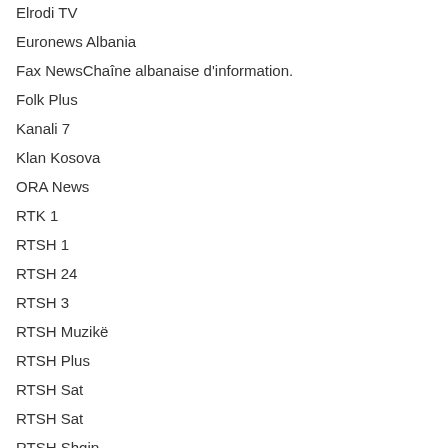Elrodi TV
Euronews Albania
Fax NewsChaîne albanaise d'information.
Folk Plus
Kanali 7
Klan Kosova
ORA News
RTK 1
RTSH 1
RTSH 24
RTSH 3
RTSH Muzikë
RTSH Plus
RTSH Sat
RTSH Sat
RTSH Shqip
Top News